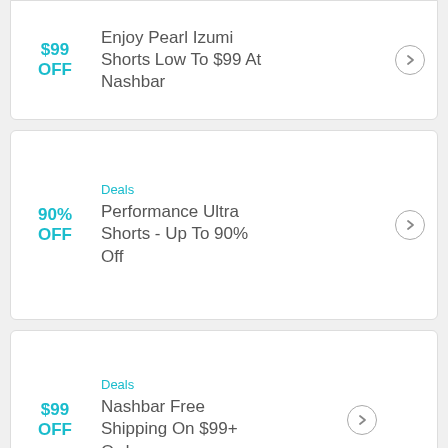$99 OFF — Enjoy Pearl Izumi Shorts Low To $99 At Nashbar
90% OFF — Deals — Performance Ultra Shorts - Up To 90% Off
$99 OFF — Deals — Nashbar Free Shipping On $99+ Orders